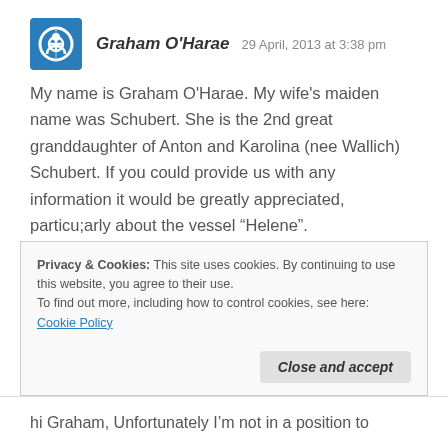Graham O'Harae   29 April, 2013 at 3:38 pm
My name is Graham O'Harae. My wife's maiden name was Schubert. She is the 2nd great granddaughter of Anton and Karolina (nee Wallich) Schubert. If you could provide us with any information it would be greatly appreciated, particu;arly about the vessel “Helene”.
★ Like
Privacy & Cookies: This site uses cookies. By continuing to use this website, you agree to their use.
To find out more, including how to control cookies, see here: Cookie Policy
Close and accept
hi Graham, Unfortunately I’m not in a position to